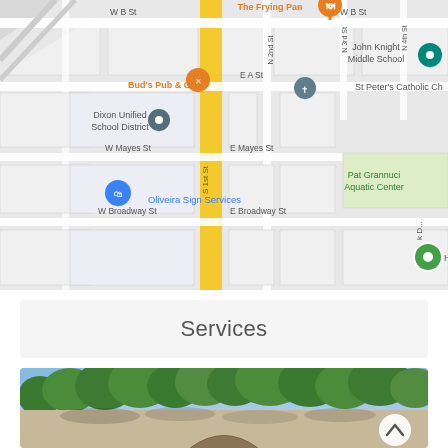[Figure (map): Google Maps screenshot showing streets in Dixon, CA. Visible landmarks: The Frying Pan (restaurant pin), Bud's Pub & Grill (restaurant pin), Dixon Unified School District (location pin), Oliveira Sign Services (shopping pin), John Knight Middle School, St Peter's Catholic Church, Pat Grannuci Aquatic Center. Streets: W B St, E A St, W Mayes St, E Mayes St, W Broadway St, E Broadway St, N 2nd St, N 3rd St, N 4th St, S 1st St (highlighted yellow).]
Services
[Figure (photo): Photo of a building exterior with trees and blue sky visible. Shows a stone or stucco wall with an arched entrance. Trees with green foliage in foreground and background.]